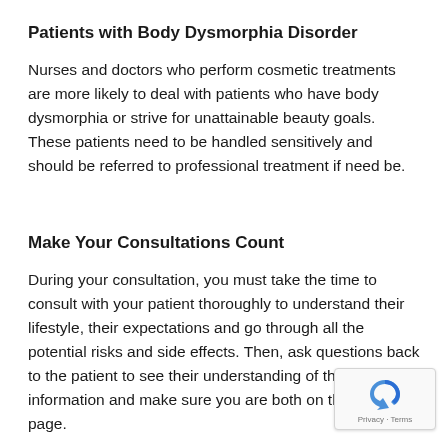Patients with Body Dysmorphia Disorder
Nurses and doctors who perform cosmetic treatments are more likely to deal with patients who have body dysmorphia or strive for unattainable beauty goals. These patients need to be handled sensitively and should be referred to professional treatment if need be.
Make Your Consultations Count
During your consultation, you must take the time to consult with your patient thoroughly to understand their lifestyle, their expectations and go through all the potential risks and side effects. Then, ask questions back to the patient to see their understanding of the information and make sure you are both on the same page.